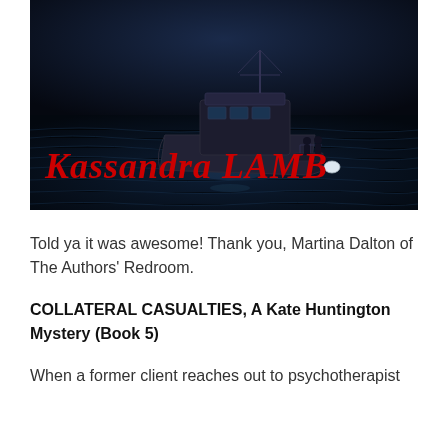[Figure (photo): Dark blue-toned photograph of a motor boat on choppy water at night or dusk, with the author name 'Kassandra LAMB' overlaid in large red italic bold text at the bottom of the image.]
Told ya it was awesome! Thank you, Martina Dalton of The Authors' Redroom.
COLLATERAL CASUALTIES, A Kate Huntington Mystery (Book 5)
When a former client reaches out to psychotherapist